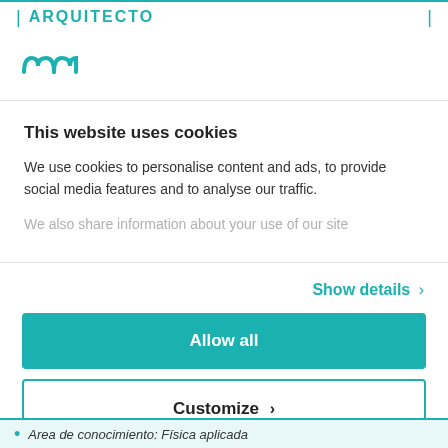| ARQUITECTO |
[Figure (logo): Stylized 'mn' or wave logo in teal/cyan color]
This website uses cookies
We use cookies to personalise content and ads, to provide social media features and to analyse our traffic. We also share information about your use of our site
Show details >
Allow all
Customize >
Powered by Cookiebot by Usercentrics
• Area de conocimiento: Física aplicada